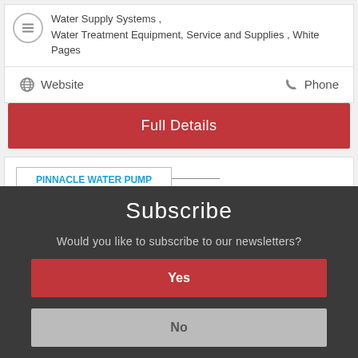Water Supply Systems , Water Treatment Equipment, Service and Supplies , White Pages
Website
Phone
Full Details
[Figure (screenshot): Pinnacle Water Pump Service Ltd advertisement with bullet points: Certified Well Pump Installer, Drilled Well & Lake Systems]
Subscribe
Would you like to subscribe to our newsletters?
Yes
No